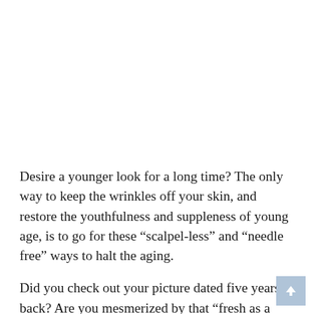Desire a younger look for a long time? The only way to keep the wrinkles off your skin, and restore the youthfulness and suppleness of young age, is to go for these “scalpel-less” and “needle free” ways to halt the aging.
Did you check out your picture dated five years back? Are you mesmerized by that “fresh as a daisy” look? Well, we can””t promise you that we can turn time